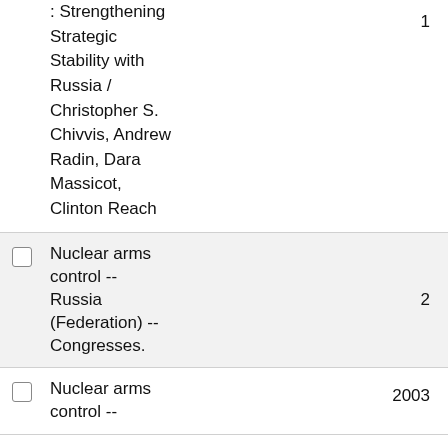: Strengthening Strategic Stability with Russia / Christopher S. Chivvis, Andrew Radin, Dara Massicot, Clinton Reach
Nuclear arms control -- Russia (Federation) -- Congresses.
Nuclear arms control --